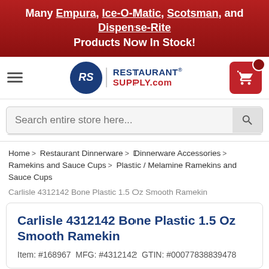Many Empura, Ice-O-Matic, Scotsman, and Dispense-Rite Products Now In Stock!
[Figure (logo): RestaurantSupply.com logo with hamburger menu and shopping cart]
Search entire store here...
Home > Restaurant Dinnerware > Dinnerware Accessories > Ramekins and Sauce Cups > Plastic / Melamine Ramekins and Sauce Cups
Carlisle 4312142 Bone Plastic 1.5 Oz Smooth Ramekin
Carlisle 4312142 Bone Plastic 1.5 Oz Smooth Ramekin
Item: #168967  MFG: #4312142  GTIN: #00077838839478